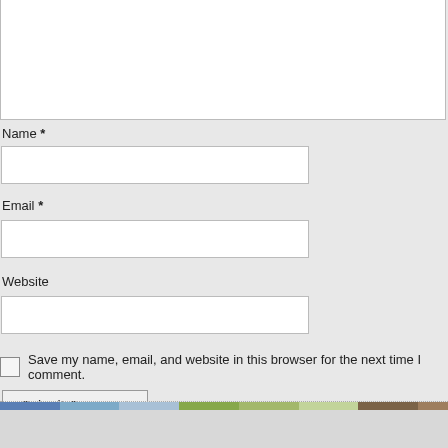[Figure (screenshot): Top portion of a text area input box (white background, light border), cropped at top of page]
Name *
[Figure (screenshot): Empty text input field for Name]
Email *
[Figure (screenshot): Empty text input field for Email]
Website
[Figure (screenshot): Empty text input field for Website]
Save my name, email, and website in this browser for the next time I comment.
Submit Comment